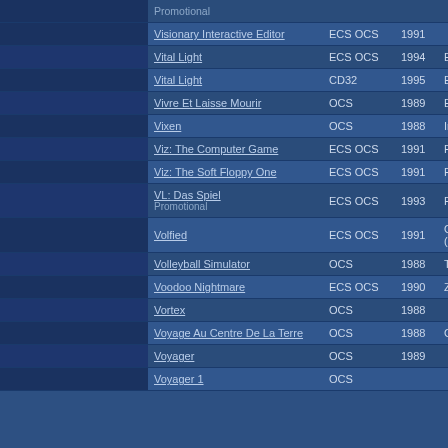|  | Title | System | Year | Publisher |
| --- | --- | --- | --- | --- |
|  | Promotional |  |  |  |
|  | Visionary Interactive Editor | ECS OCS | 1991 |  |
|  | Vital Light | ECS OCS | 1994 | Efec |
|  | Vital Light | CD32 | 1995 | Efec |
|  | Vivre Et Laisse Mourir | OCS | 1989 | Elite |
|  | Vixen | OCS | 1988 | Intel |
|  | Viz: The Computer Game | ECS OCS | 1991 | Prob |
|  | Viz: The Soft Floppy One | ECS OCS | 1991 | Prob |
|  | VL: Das Spiel
Promotional | ECS OCS | 1993 | Prom |
|  | Volfied | ECS OCS | 1991 | Oxfo (OD |
|  | Volleyball Simulator | OCS | 1988 | Tim |
|  | Voodoo Nightmare | ECS OCS | 1990 | Zipp |
|  | Vortex | OCS | 1988 |  |
|  | Voyage Au Centre De La Terre | OCS | 1988 | Chip |
|  | Voyager | OCS | 1989 |  |
|  | Voyager 1 | OCS |  |  |